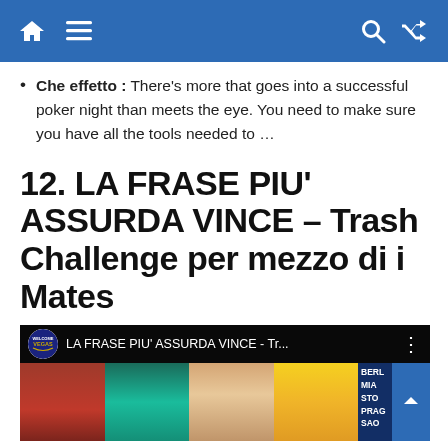Navigation bar with home, menu, search, and shuffle icons
Che effetto : There's more that goes into a successful poker night than meets the eye. You need to make sure you have all the tools needed to …
12. LA FRASE PIU' ASSURDA VINCE – Trash Challenge per mezzo di i Mates
[Figure (screenshot): YouTube video embed thumbnail for 'LA FRASE PIU' ASSURDA VINCE - Tr...' with channel logo, multiple people visible, and city names overlay on right side including BERL, MIA, STO, PRAG, SAO]